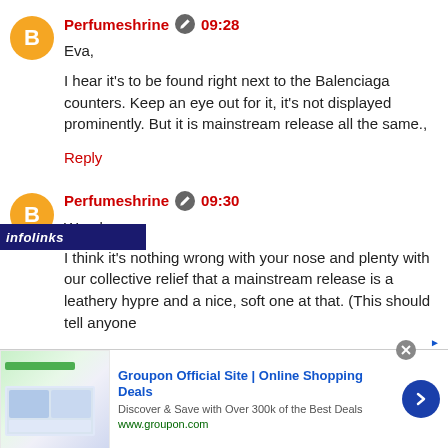Perfumeshrine 09:28
Eva,

I hear it's to be found right next to the Balenciaga counters. Keep an eye out for it, it's not displayed prominently. But it is mainstream release all the same.,

Reply
Perfumeshrine 09:30
Wendy,

I think it's nothing wrong with your nose and plenty with our collective relief that a mainstream release is a leathery hypre and a nice, soft one at that. (This should tell anyone
[Figure (screenshot): Infolinks ad bar overlay and Groupon advertisement banner at the bottom of the page]